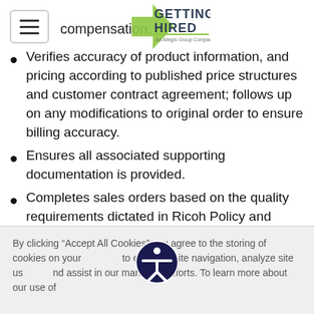Getting Hired - An Allegis Group Company
compensation.
Verifies accuracy of product information, and pricing according to published price structures and customer contract agreement; follows up on any modifications to original order to ensure billing accuracy.
Ensures all associated supporting documentation is provided.
Completes sales orders based on the quality requirements dictated in Ricoh Policy and procedures.
Verifies accuracy of product information and customer contract agreements; follows up on
By clicking “Accept All Cookies” you agree to the storing of cookies on your device to enhance site navigation, analyze site usage, and assist in our marketing efforts. To learn more about our use of